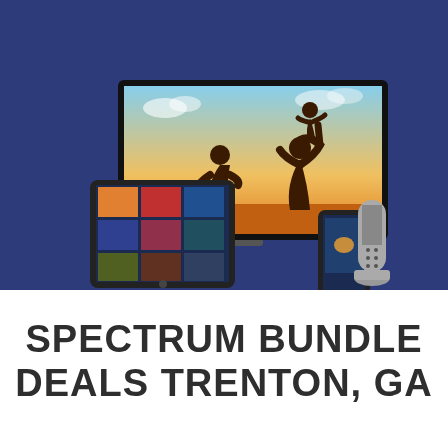[Figure (illustration): Product photo showing a large flat-screen TV displaying a sunset silhouette scene of two adults lifting a child, with a tablet showing a movie grid interface on the left, and a smartphone plus a cordless phone handset on the right, all on a dark navy blue background.]
SPECTRUM BUNDLE DEALS TRENTON, GA